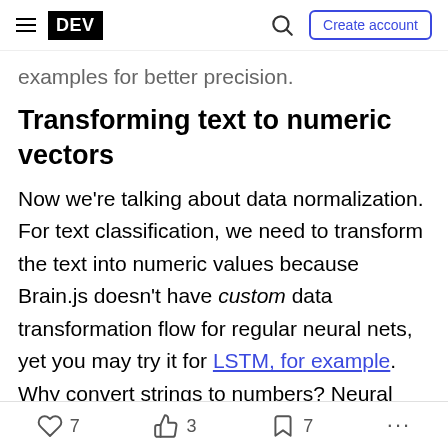DEV | Create account
examples for better precision.
Transforming text to numeric vectors
Now we're talking about data normalization. For text classification, we need to transform the text into numeric values because Brain.js doesn't have custom data transformation flow for regular neural nets, yet you may try it for LSTM, for example. Why convert strings to numbers? Neural networks training is a process of many math calculations, which require numbers, not other data types. You might use raw strings, they would be converted to their numeric
7  3  7  ...